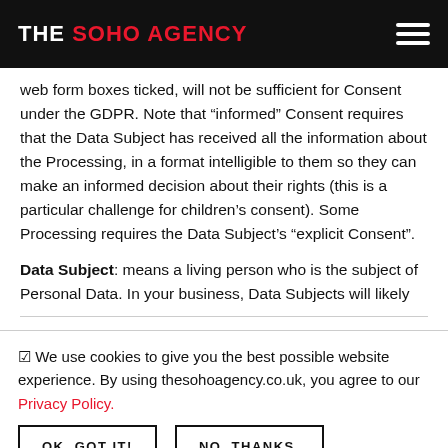THE SOHO AGENCY
web form boxes ticked, will not be sufficient for Consent under the GDPR. Note that “informed” Consent requires that the Data Subject has received all the information about the Processing, in a format intelligible to them so they can make an informed decision about their rights (this is a particular challenge for children’s consent). Some Processing requires the Data Subject’s “explicit Consent”.
Data Subject: means a living person who is the subject of Personal Data. In your business, Data Subjects will likely
☑ We use cookies to give you the best possible website experience. By using thesohoagency.co.uk, you agree to our Privacy Policy.
OK, GOT IT!    NO, THANKS.